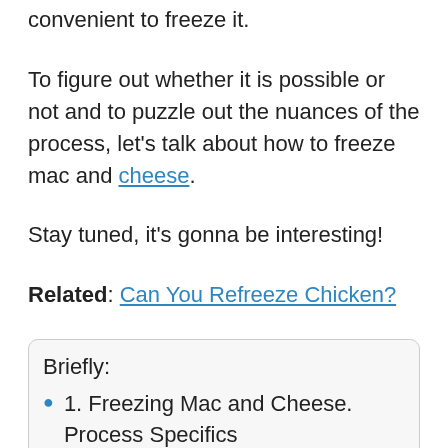convenient to freeze it.
To figure out whether it is possible or not and to puzzle out the nuances of the process, let's talk about how to freeze mac and cheese.
Stay tuned, it's gonna be interesting!
Related: Can You Refreeze Chicken?
Briefly:
1. Freezing Mac and Cheese. Process Specifics
2. Does mac and cheese freeze well?